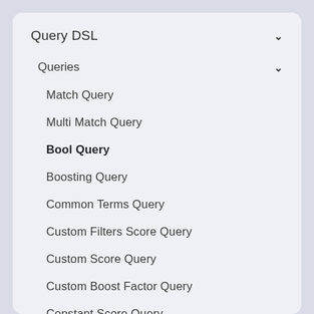Query DSL
Queries
Match Query
Multi Match Query
Bool Query
Boosting Query
Common Terms Query
Custom Filters Score Query
Custom Score Query
Custom Boost Factor Query
Constant Score Query
Dis Max Query
Field Query